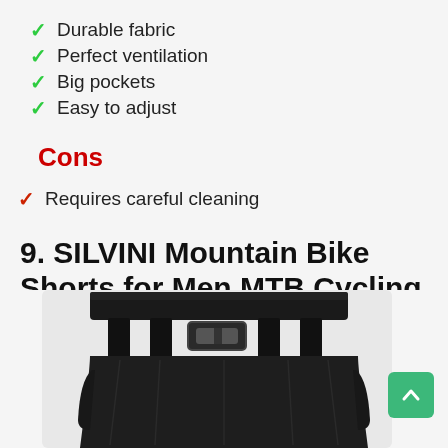✓ Durable fabric
✓ Perfect ventilation
✓ Big pockets
✓ Easy to adjust
Cons
✓ Requires careful cleaning
9. SILVINI Mountain Bike Shorts for Men MTB Cycling
[Figure (photo): Black mountain bike shorts with belt buckle, shown from the front/top, on a light grey background]